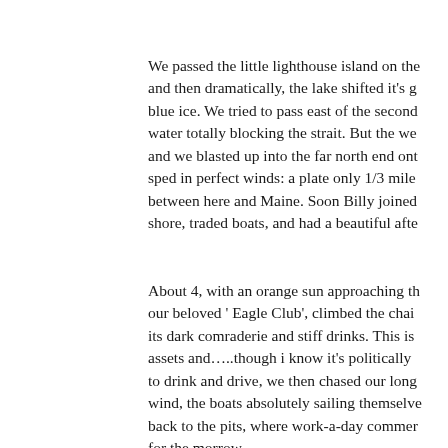We passed the little lighthouse island on the and then dramatically, the lake shifted it's g blue ice. We tried to pass east of the second water totally blocking the strait. But the we and we blasted up into the far north end ont sped in perfect winds: a plate only 1/3 mile between here and Maine. Soon Billy joined shore, traded boats, and had a beautiful afte
About 4, with an orange sun approaching th our beloved ' Eagle Club', climbed the chai its dark comraderie and stiff drinks. This is assets and…..though i know it's politically to drink and drive, we then chased our long wind, the boats absolutely sailing themselve back to the pits, where work-a-day commer for the morrow.